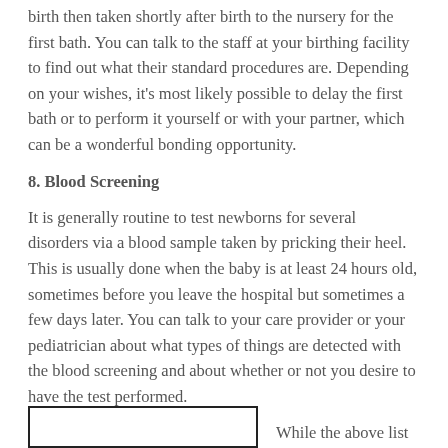birth then taken shortly after birth to the nursery for the first bath. You can talk to the staff at your birthing facility to find out what their standard procedures are. Depending on your wishes, it's most likely possible to delay the first bath or to perform it yourself or with your partner, which can be a wonderful bonding opportunity.
8. Blood Screening
It is generally routine to test newborns for several disorders via a blood sample taken by pricking their heel. This is usually done when the baby is at least 24 hours old, sometimes before you leave the hospital but sometimes a few days later. You can talk to your care provider or your pediatrician about what types of things are detected with the blood screening and about whether or not you desire to have the test performed.
While the above list